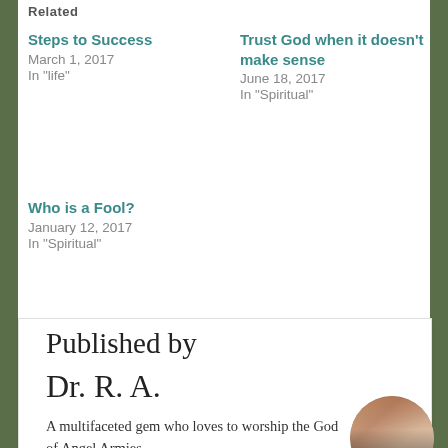Related
Steps to Success
March 1, 2017
In "life"
Trust God when it doesn't make sense
June 18, 2017
In "Spiritual"
Who is a Fool?
January 12, 2017
In "Spiritual"
Published by
Dr. R. A.
A multifaceted gem who loves to worship the God of Angel Armies.
[Figure (photo): Circular author photo showing a woman in a green outfit with collage of images]